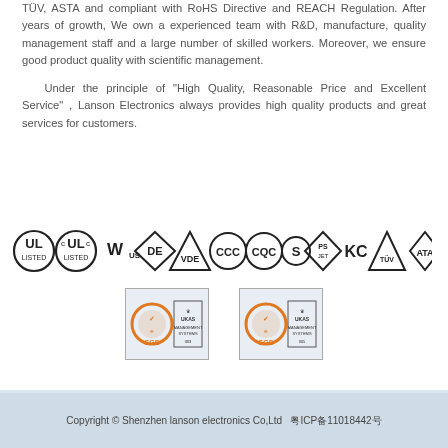TÜV, ASTA and compliant with RoHS Directive and REACH Regulation. After years of growth, We own a experienced team with R&D, manufacture, quality management staff and a large number of skilled workers. Moreover, we ensure good product quality with scientific management.
Under the principle of "High Quality, Reasonable Price and Excellent Service", Lanson Electronics always provides high quality products and great services for customers.
[Figure (logo): Row of certification logos: UL, c-UL, UL-US, DE, VDE, CCC, CQC, S, PS/JET, KC, TUV, ATA]
[Figure (logo): Two SGS UKAS certification badges]
Copyright © Shenzhen lanson electronics Co,Ltd  粤ICP备11018442号